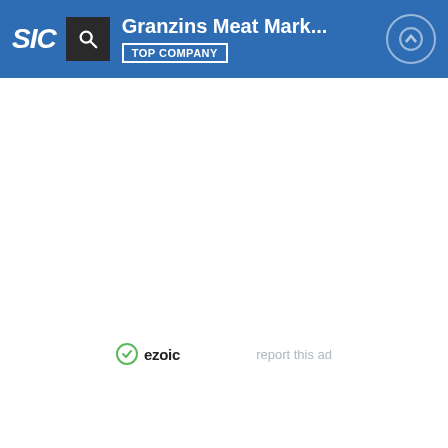SIC | Granzins Meat Mark... | TOP COMPANY
[Figure (screenshot): Ezoic ad placeholder area with ezoic logo and 'report this ad' text]